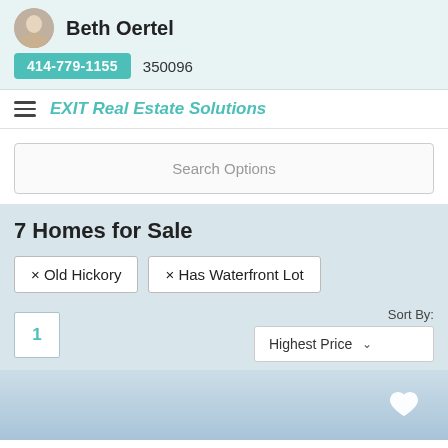Beth Oertel 414-779-1155 350096
EXIT Real Estate Solutions
Search Options
7 Homes for Sale
× Old Hickory
× Has Waterfront Lot
Sort By: Highest Price
[Figure (photo): Property listing photo - light blue sky/water image with heart favorite icon]